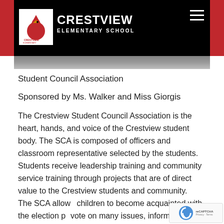CRESTVIEW ELEMENTARY SCHOOL
Student Council Association
Sponsored by Ms. Walker and Miss Giorgis
The Crestview Student Council Association is the heart, hands, and voice of the Crestview student body. The SCA is composed of officers and classroom representative selected by the students. Students receive leadership training and community service training through projects that are of direct value to the Crestview students and community. The SCA allows children to become acquainted with the election process, vote on many issues, inform their classmates of